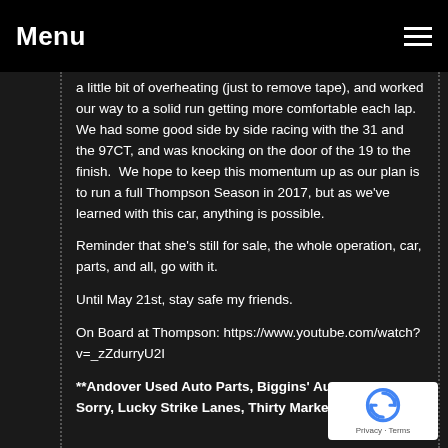Menu
a little bit of overheating (just to remove tape), and worked our way to a solid run getting more comfortable each lap.  We had some good side by side racing with the 31 and the 97CT, and was knocking on the door of the 19 to the finish.  We hope to keep this momentum up as our plan is to run a full Thompson Season in 2017, but as we've learned with this car, anything is possible.
Reminder that she's still for sale, the whole operation, car, parts, and all, go with it.
Until May 21st, stay safe my friends.
On Board at Thompson: https://www.youtube.com/watch?v=_zZdurryU2I
**Andover Used Auto Parts, Biggins' Auto Repair, So Sorry, Lucky Strike Lanes, Thirty Marketing**
[Figure (logo): Google reCAPTCHA badge with blue refresh arrow icon, showing Privacy and Terms links]